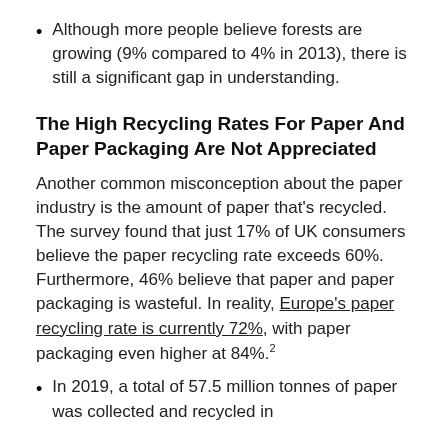Although more people believe forests are growing (9% compared to 4% in 2013), there is still a significant gap in understanding.
The High Recycling Rates For Paper And Paper Packaging Are Not Appreciated
Another common misconception about the paper industry is the amount of paper that's recycled. The survey found that just 17% of UK consumers believe the paper recycling rate exceeds 60%. Furthermore, 46% believe that paper and paper packaging is wasteful. In reality, Europe's paper recycling rate is currently 72%, with paper packaging even higher at 84%.²
In 2019, a total of 57.5 million tonnes of paper was collected and recycled in